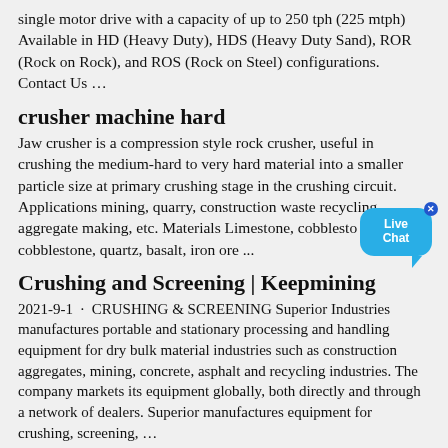single motor drive with a capacity of up to 250 tph (225 mtph) Available in HD (Heavy Duty), HDS (Heavy Duty Sand), ROR (Rock on Rock), and ROS (Rock on Steel) configurations. Contact Us …
crusher machine hard
Jaw crusher is a compression style rock crusher, useful in crushing the medium-hard to very hard material into a smaller particle size at primary crushing stage in the crushing circuit. Applications mining, quarry, construction waste recycling, aggregate making, etc. Materials Limestone, cobblestone, cobblestone, quartz, basalt, iron ore ...
Crushing and Screening | Keepmining
2021-9-1 · CRUSHING & SCREENING Superior Industries manufactures portable and stationary processing and handling equipment for dry bulk material industries such as construction aggregates, mining, concrete, asphalt and recycling industries. The company markets its equipment globally, both directly and through a network of dealers. Superior manufactures equipment for crushing, screening, …
mobile crusher or pulveriser
stone crusher machine second hand price model german; tabel kapasitas desain roll crusher; calibration procedure for jaques cone crusher; mining crusher manufacturer sample queries;
[Figure (other): Live Chat button — a blue rounded speech-bubble widget with 'Live Chat' text and a close X button in the top-right corner]